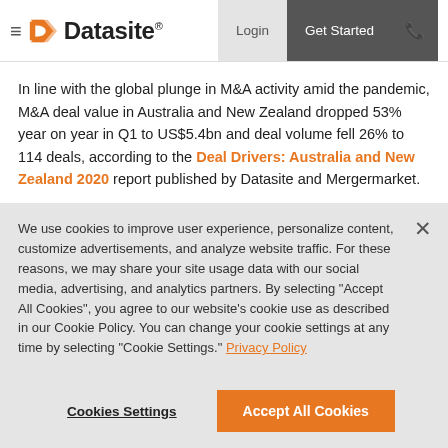≡ Datasite® | Login | Get Started | 📞
In line with the global plunge in M&A activity amid the pandemic, M&A deal value in Australia and New Zealand dropped 53% year on year in Q1 to US$5.4bn and deal volume fell 26% to 114 deals, according to the Deal Drivers: Australia and New Zealand 2020 report published by Datasite and Mergermarket.
We use cookies to improve user experience, personalize content, customize advertisements, and analyze website traffic. For these reasons, we may share your site usage data with our social media, advertising, and analytics partners. By selecting "Accept All Cookies", you agree to our website's cookie use as described in our Cookie Policy. You can change your cookie settings at any time by selecting "Cookie Settings." Privacy Policy
Cookies Settings | Accept All Cookies